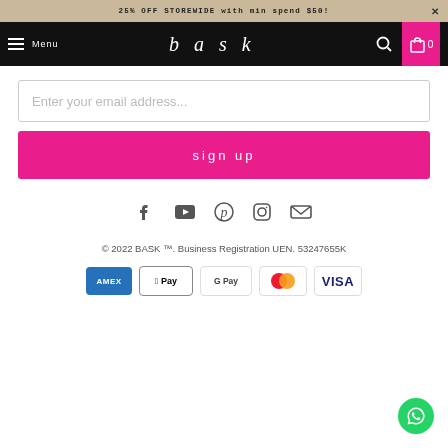25% OFF STOREWIDE with min spend $50!
[Figure (screenshot): Navigation bar with hamburger menu, bask logo, search icon, and cart icon]
Enter your email address...
sign up
[Figure (infographic): Social media icons: Facebook, YouTube, Pinterest, Instagram, Email]
© 2022 BASK ™. Business Registration UEN. 53247655K
[Figure (infographic): Payment method logos: AMEX, Apple Pay, Google Pay, Mastercard, VISA]